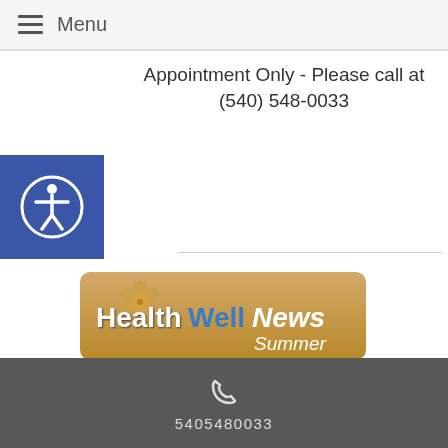☰ Menu
Appointment Only - Please call at (540) 548-0033
[Figure (illustration): Blue accessibility icon showing a stylized person in a circle on a blue square background]
[Figure (illustration): HealthWellNews Summer banner with starfish and sand background, text reading HealthWellNews Summer]
Latest Articles:
• Cultivating Defensive Qi to Fight Summer Allergies •
• 3 Tips for Healthy Summer Fun •
• A Taste of Summer •
5405480033